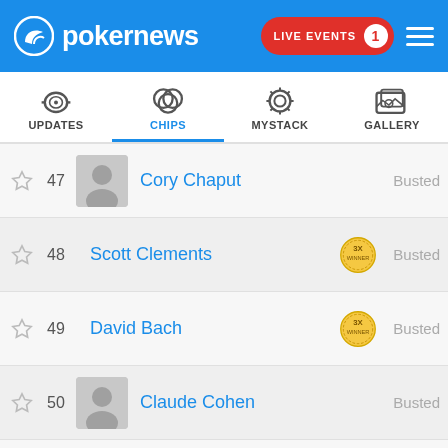pokernews — LIVE EVENTS 1
UPDATES | CHIPS | MYSTACK | GALLERY
47 Cory Chaput — Busted
48 Scott Clements — 3X WINNER — Busted
49 David Bach — 3X WINNER — Busted
50 Claude Cohen — Busted
51 David Benyamine — 1X WINNER — Busted
52 Allyn Shulman — Busted